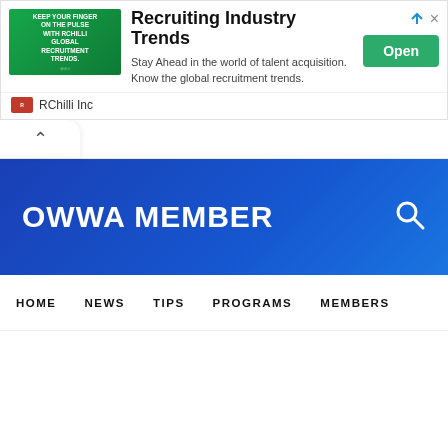[Figure (infographic): RChilli advertisement banner with green background image showing recruitment figures, headline 'Recruiting Industry Trends', description text, Open button, and RChilli Inc brand name]
[Figure (screenshot): Collapse/chevron button bar]
OWWA MEMBER
HOME
NEWS
TIPS
PROGRAMS
MEMBERS